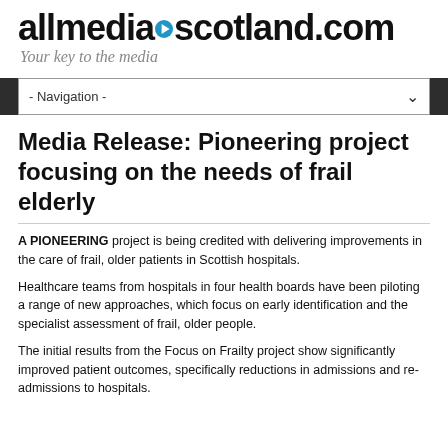allmediascotland.com
Your key to the media
- Navigation -
Media Release: Pioneering project focusing on the needs of frail elderly
A PIONEERING project is being credited with delivering improvements in the care of frail, older patients in Scottish hospitals.
Healthcare teams from hospitals in four health boards have been piloting a range of new approaches, which focus on early identification and the specialist assessment of frail, older people.
The initial results from the Focus on Frailty project show significantly improved patient outcomes, specifically reductions in admissions and re-admissions to hospitals.